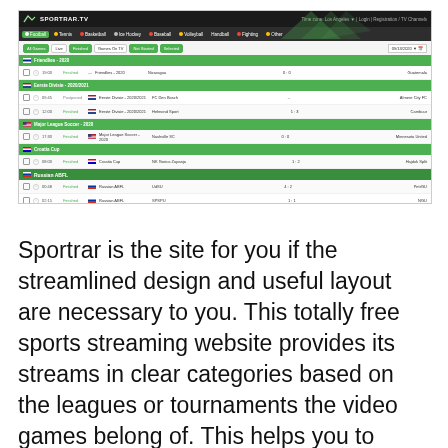[Figure (screenshot): Screenshot of Sportrar.TV website showing sports streaming interface with football matches listed under categories including Friendlies-2020, Eerste Divisie-2020/2021, Major League Soccer-2020, Croatia Cup, and Russian ABFL leagues with match scores and statuses.]
Sportrar is the site for you if the streamlined design and useful layout are necessary to you. This totally free sports streaming website provides its streams in clear categories based on the leagues or tournaments the video games belong of. This helps you to discover streams much faster and to see other associated games a lot easier than the average site. They likewise allow you to pick the particular league or competition the anticipated league or di...